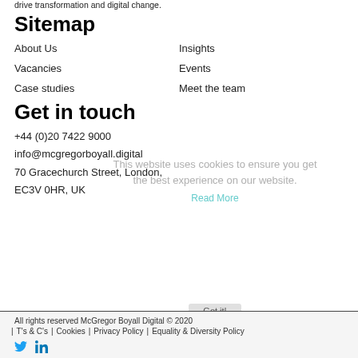drive transformation and digital change.
Sitemap
About Us
Insights
Vacancies
Events
Case studies
Meet the team
Get in touch
+44 (0)20 7422 9000
info@mcgregorboyall.digital
70 Gracechurch Street, London,
EC3V 0HR, UK
All rights reserved McGregor Boyall Digital © 2020 | T's & C's | Cookies | Privacy Policy | Equality & Diversity Policy